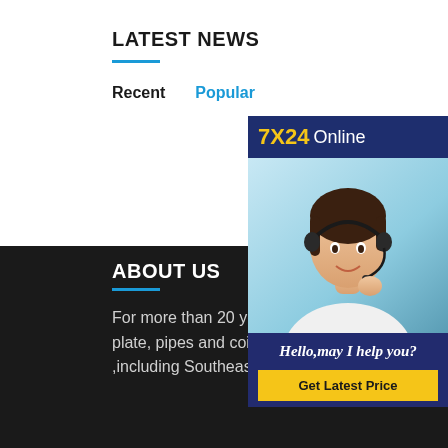LATEST NEWS
Recent   Popular
[Figure (photo): Customer service representative wearing a headset, smiling. Banner with '7X24 Online' at top, 'Hello, may I help you?' text and 'Get Latest Price' button at bottom.]
ABOUT US
For more than 20 years, Our company is one of the largest exporters of steel plate, pipes and coils, Our company export to more than 50 countries and regions ,including Southeast Asia, Europe,